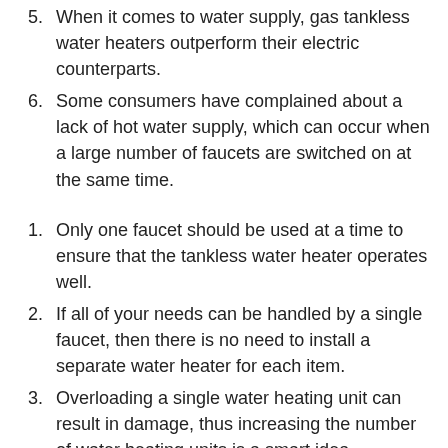5. When it comes to water supply, gas tankless water heaters outperform their electric counterparts.
6. Some consumers have complained about a lack of hot water supply, which can occur when a large number of faucets are switched on at the same time.
1. Only one faucet should be used at a time to ensure that the tankless water heater operates well.
2. If all of your needs can be handled by a single faucet, then there is no need to install a separate water heater for each item.
3. Overloading a single water heating unit can result in damage, thus increasing the number of water heating units is a smart idea.